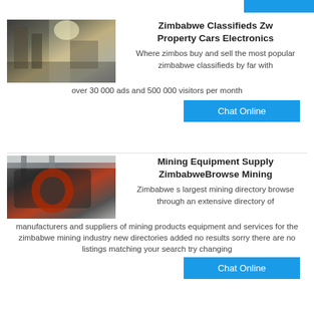[Figure (photo): Industrial building or mining facility with bright sun glare, dark structures and scaffolding visible.]
Zimbabwe Classifieds Zw Property Cars Electronics
Where zimbos buy and sell the most popular zimbabwe classifieds by far with over 30 000 ads and 500 000 visitors per month
Chat Online
[Figure (photo): Large industrial mining machine or crusher with red and dark metal parts against a light sky.]
Mining Equipment Supply ZimbabweBrowse Mining
Zimbabwe s largest mining directory browse through an extensive directory of manufacturers and suppliers of mining products equipment and services for the zimbabwe mining industry new directories added no results sorry there are no listings matching your search try changing
Chat Online